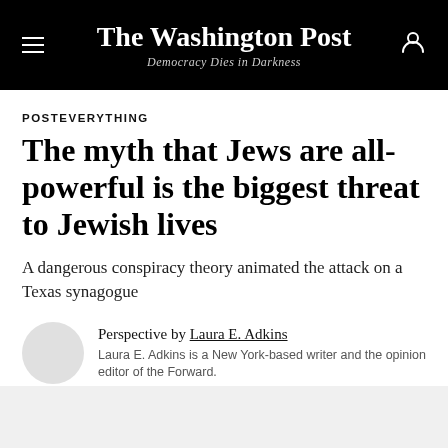The Washington Post — Democracy Dies in Darkness
POSTEVERYTHING
The myth that Jews are all-powerful is the biggest threat to Jewish lives
A dangerous conspiracy theory animated the attack on a Texas synagogue
Perspective by Laura E. Adkins
Laura E. Adkins is a New York-based writer and the opinion editor of the Forward.
January 20, 2022 at 6:00 a.m. EST